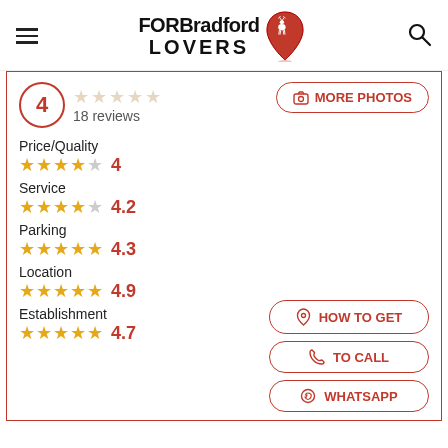FOR Bradford LOVERS
4  18 reviews
MORE PHOTOS
Price/Quality  ★★★★☆  4
Service  ★★★★☆  4.2
Parking  ★★★★½  4.3
Location  ★★★★★  4.9
Establishment  ★★★★½  4.7
HOW TO GET
TO CALL
WHATSAPP